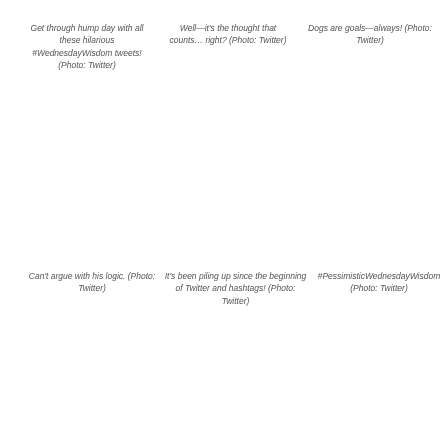Get through hump day with all these hilarious #WednesdayWisdom tweets! (Photo: Twitter)
Well—it's the thought that counts… right? (Photo: Twitter)
Dogs are goals—always! (Photo: Twitter)
Can't argue with his logic. (Photo: Twitter)
It's been piling up since the beginning of Twitter and hashtags! (Photo: Twitter)
#PessimisticWednesdayWisdom (Photo: Twitter)